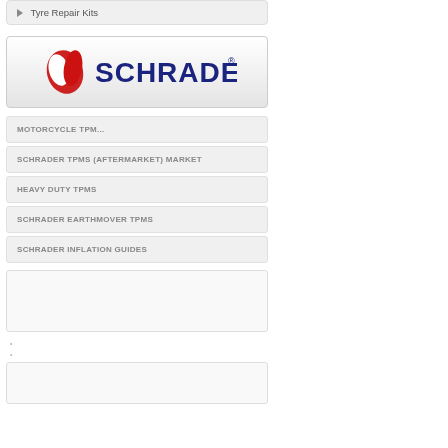Tyre Repair Kits
[Figure (logo): Schrader brand logo with red leaf/oval icon and dark blue SCHRADER text with registered trademark symbol]
MOTORCYCLE TPM...
SCHRADER TPMS (Aftermarket) Market
HEAVY DUTY TPMS
SCHRADER EARTHMOVER TPMS
SCHRADER INFLATION GUIDES